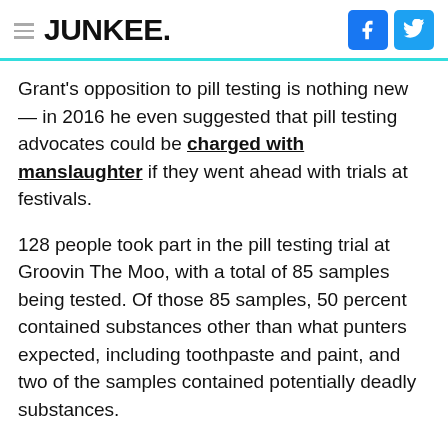JUNKEE.
Grant's opposition to pill testing is nothing new — in 2016 he even suggested that pill testing advocates could be charged with manslaughter if they went ahead with trials at festivals.
128 people took part in the pill testing trial at Groovin The Moo, with a total of 85 samples being tested. Of those 85 samples, 50 percent contained substances other than what punters expected, including toothpaste and paint, and two of the samples contained potentially deadly substances.
HERE IS AUSTRALIA'S FIRST OFFICIAL #PILLTESTING SERVICE IN NUMBERS: